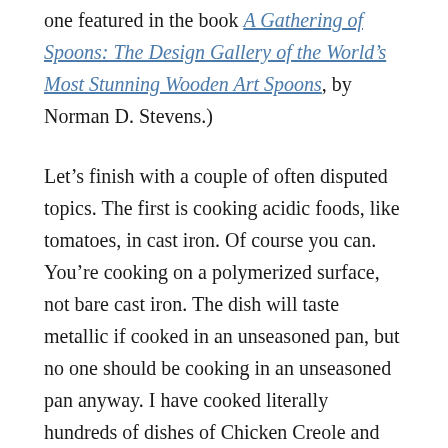one featured in the book A Gathering of Spoons: The Design Gallery of the World's Most Stunning Wooden Art Spoons, by Norman D. Stevens.)
Let's finish with a couple of often disputed topics. The first is cooking acidic foods, like tomatoes, in cast iron. Of course you can. You're cooking on a polymerized surface, not bare cast iron. The dish will taste metallic if cooked in an unseasoned pan, but no one should be cooking in an unseasoned pan anyway. I have cooked literally hundreds of dishes of Chicken Creole and Chicken Piquant in my favorite skillet, and both have tomatoes, and the second additionally has white wine and olives. I've made both in some of my wife's fancy copper pans, and the result wasn't nearly as tasty. Go figure.